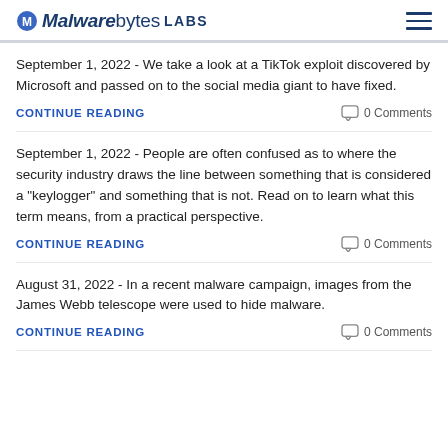Malwarebytes LABS
September 1, 2022 - We take a look at a TikTok exploit discovered by Microsoft and passed on to the social media giant to have fixed.
CONTINUE READING   0 Comments
September 1, 2022 - People are often confused as to where the security industry draws the line between something that is considered a "keylogger" and something that is not. Read on to learn what this term means, from a practical perspective.
CONTINUE READING   0 Comments
August 31, 2022 - In a recent malware campaign, images from the James Webb telescope were used to hide malware.
CONTINUE READING   0 Comments